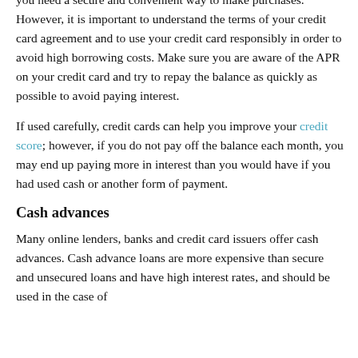you need a secure and convenient way to make purchases. However, it is important to understand the terms of your credit card agreement and to use your credit card responsibly in order to avoid high borrowing costs. Make sure you are aware of the APR on your credit card and try to repay the balance as quickly as possible to avoid paying interest.
If used carefully, credit cards can help you improve your credit score; however, if you do not pay off the balance each month, you may end up paying more in interest than you would have if you had used cash or another form of payment.
Cash advances
Many online lenders, banks and credit card issuers offer cash advances. Cash advance loans are more expensive than secure and unsecured loans and have high interest rates, and should be used in the case of